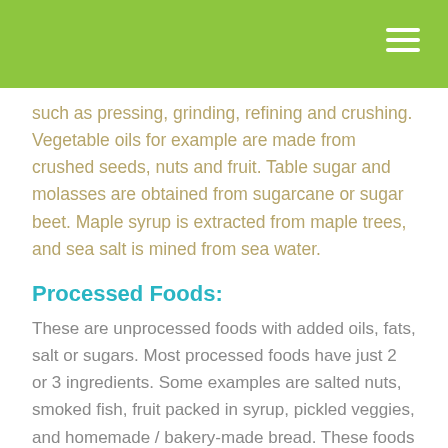such as pressing, grinding, refining and crushing. Vegetable oils for example are made from crushed seeds, nuts and fruit. Table sugar and molasses are obtained from sugarcane or sugar beet. Maple syrup is extracted from maple trees, and sea salt is mined from sea water.
Processed Foods:
These are unprocessed foods with added oils, fats, salt or sugars. Most processed foods have just 2 or 3 ingredients. Some examples are salted nuts, smoked fish, fruit packed in syrup, pickled veggies, and homemade / bakery-made bread. These foods can still be enjoyed as part of an overall healthy diet.
Ultra-processed Foods: